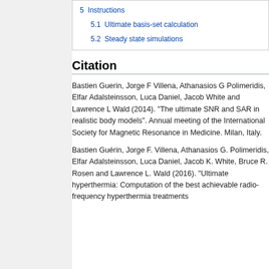5.1 Ultimate basis-set calculation
5.2 Steady state simulations
Citation
Bastien Guerin, Jorge F Villena, Athanasios G Polimeridis, Elfar Adalsteinsson, Luca Daniel, Jacob White and Lawrence L Wald (2014). "The ultimate SNR and SAR in realistic body models". Annual meeting of the International Society for Magnetic Resonance in Medicine. Milan, Italy.
Bastien Guérin, Jorge F. Villena, Athanasios G. Polimeridis, Elfar Adalsteinsson, Luca Daniel, Jacob K. White, Bruce R. Rosen and Lawrence L. Wald (2016). "Ultimate hyperthermia: Computation of the best achievable radio-frequency hyperthermia treatments